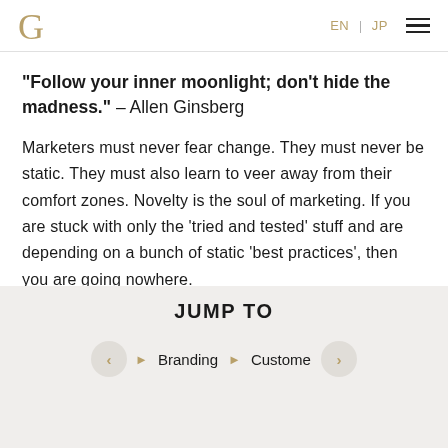G  EN | JP ☰
"Follow your inner moonlight; don't hide the madness." – Allen Ginsberg
Marketers must never fear change. They must never be static. They must also learn to veer away from their comfort zones. Novelty is the soul of marketing. If you are stuck with only the 'tried and tested' stuff and are depending on a bunch of static 'best practices', then you are going nowhere.
2.) "One day I will find the right words, and they
JUMP TO
‹  ▶ Branding  ▶ Custome  ›